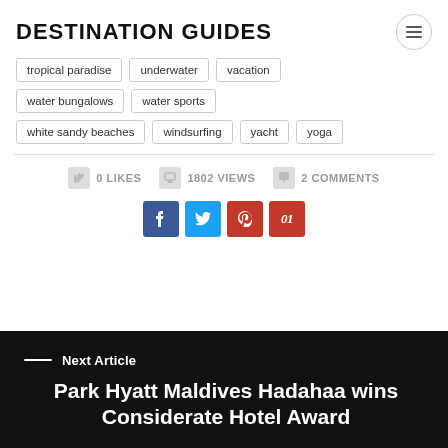DESTINATION GUIDES
tropical paradise
underwater
vacation
water bungalows
water sports
white sandy beaches
windsurfing
yacht
yoga
0 LIKES  1802 VIEWS  2 COMMENTS
Next Article
Park Hyatt Maldives Hadahaa wins Considerate Hotel Award